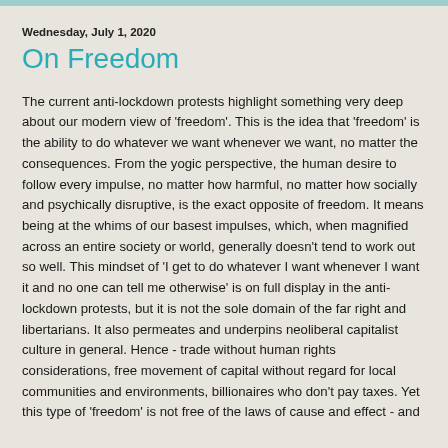Wednesday, July 1, 2020
On Freedom
The current anti-lockdown protests highlight something very deep about our modern view of 'freedom'. This is the idea that 'freedom' is the ability to do whatever we want whenever we want, no matter the consequences. From the yogic perspective, the human desire to follow every impulse, no matter how harmful, no matter how socially and psychically disruptive, is the exact opposite of freedom. It means being at the whims of our basest impulses, which, when magnified across an entire society or world, generally doesn't tend to work out so well. This mindset of 'I get to do whatever I want whenever I want it and no one can tell me otherwise' is on full display in the anti-lockdown protests, but it is not the sole domain of the far right and libertarians. It also permeates and underpins neoliberal capitalist culture in general. Hence - trade without human rights considerations, free movement of capital without regard for local communities and environments, billionaires who don't pay taxes. Yet this type of 'freedom' is not free of the laws of cause and effect - and